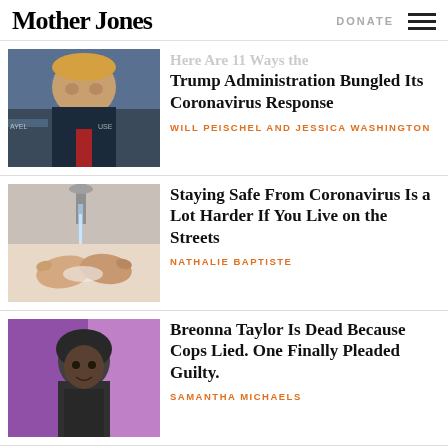Mother Jones | DONATE
Here Are 11 Ways the Trump Administration Bungled Its Coronavirus Response
WILL PEISCHEL AND JESSICA WASHINGTON
[Figure (photo): Photo of Donald Trump at a press conference]
Staying Safe From Coronavirus Is a Lot Harder If You Live on the Streets
NATHALIE BAPTISTE
[Figure (photo): Photo of hands being washed under faucet]
Breonna Taylor Is Dead Because Cops Lied. One Finally Pleaded Guilty.
SAMANTHA MICHAELS
[Figure (photo): Illustration/photo of Breonna Taylor in front of purple/pink background]